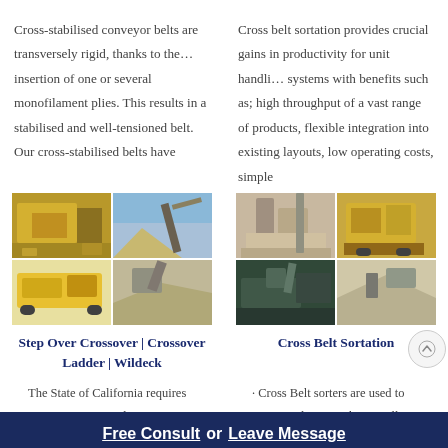Cross-stabilised conveyor belts are transversely rigid, thanks to the… insertion of one or several monofilament plies. This results in a stabilised and well-tensioned belt. Our cross-stabilised belts have
Cross belt sortation provides crucial gains in productivity for unit handli… systems with benefits such as; high throughput of a vast range of products, flexible integration into existing layouts, low operating costs, simple
[Figure (photo): Four-panel photo grid showing industrial quarry/mining conveyor belt equipment and machinery in yellow, including mobile crushing units and aggregate processing equipment.]
[Figure (photo): Four-panel photo grid showing mining and quarry belt sortation equipment, including industrial machinery operating at mine sites with aggregate piles.]
Step Over Crossover | Crossover Ladder | Wildeck
Cross Belt Sortation
The State of California requires permits, testing and inspections for… VRCs (California Code of
· Cross Belt sorters are used to sort parcels, apparel, & small items, at h… speed, t
Free Consult  or  Leave Message